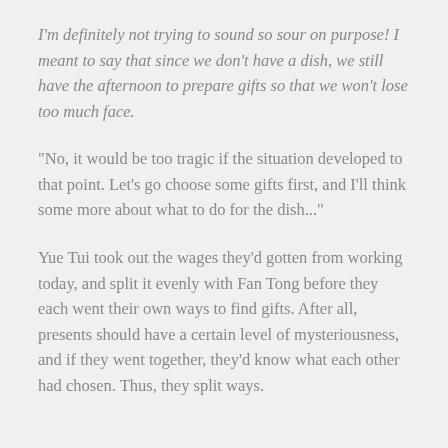I'm definitely not trying to sound so sour on purpose! I meant to say that since we don't have a dish, we still have the afternoon to prepare gifts so that we won't lose too much face.
“No, it would be too tragic if the situation developed to that point. Let's go choose some gifts first, and I'll think some more about what to do for the dish...”
Yue Tui took out the wages they'd gotten from working today, and split it evenly with Fan Tong before they each went their own ways to find gifts. After all, presents should have a certain level of mysteriousness, and if they went together, they'd know what each other had chosen. Thus, they split ways.